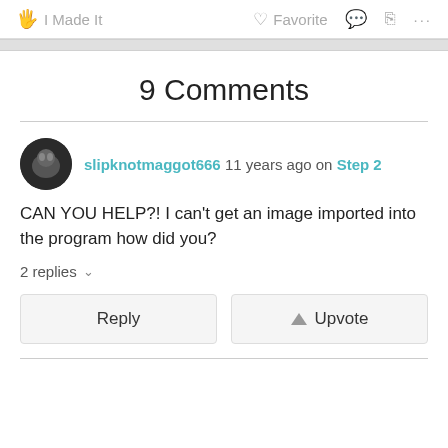I Made It   Favorite   ...
9 Comments
slipknotmaggot666 11 years ago on Step 2
CAN YOU HELP?! I can't get an image imported into the program how did you?
2 replies
Reply   Upvote